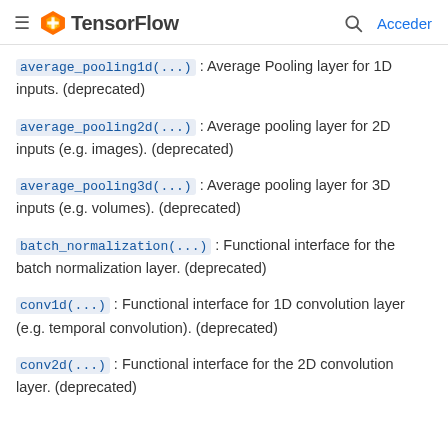TensorFlow — Acceder
average_pooling1d(...) : Average Pooling layer for 1D inputs. (deprecated)
average_pooling2d(...) : Average pooling layer for 2D inputs (e.g. images). (deprecated)
average_pooling3d(...) : Average pooling layer for 3D inputs (e.g. volumes). (deprecated)
batch_normalization(...) : Functional interface for the batch normalization layer. (deprecated)
conv1d(...) : Functional interface for 1D convolution layer (e.g. temporal convolution). (deprecated)
conv2d(...) : Functional interface for the 2D convolution layer. (deprecated)